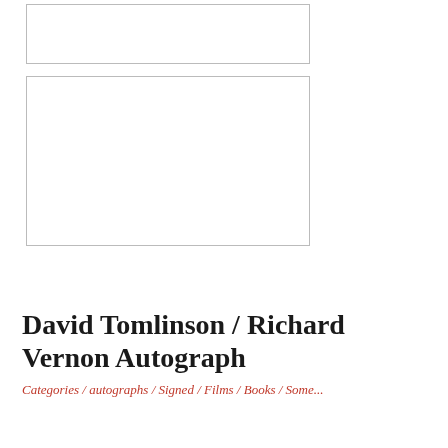[Figure (other): Empty bordered rectangle placeholder image box 1]
[Figure (other): Empty bordered rectangle placeholder image box 2]
David Tomlinson / Richard Vernon Autograph
Categories / autographs / Signed / Films / Books / Some...